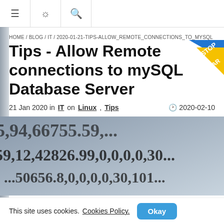≡  ☀  🔍
HOME / BLOG / IT / 2020-01-21-TIPS-ALLOW_REMOTE_CONNECTIONS_TO_MYSQL
Tips - Allow Remote connections to mySQL Database Server
21 Jan 2020 in IT on Linux, Tips   🕐 2020-02-10
[Figure (photo): Close-up photo of a spreadsheet or database output showing numbers: 5,94,66755.59,... / 59,12,42826.99,0,0,0,0,30... / ...50656.8,0,0,0,0,30,101...]
This site uses cookies. Cookies Policy.  Okay